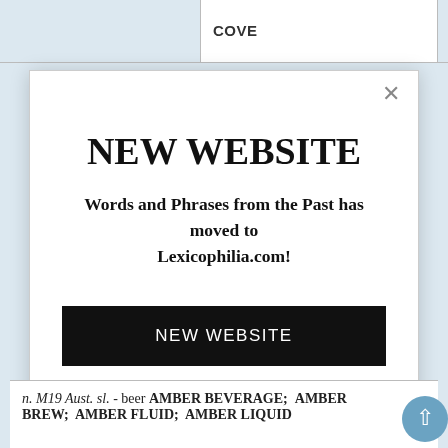COVE
NEW WEBSITE
Words and Phrases from the Past has moved to Lexicophilia.com!
NEW WEBSITE
n. M19 Aust. sl. - beer AMBER BEVERAGE;  AMBER BREW;  AMBER FLUID;  AMBER LIQUID